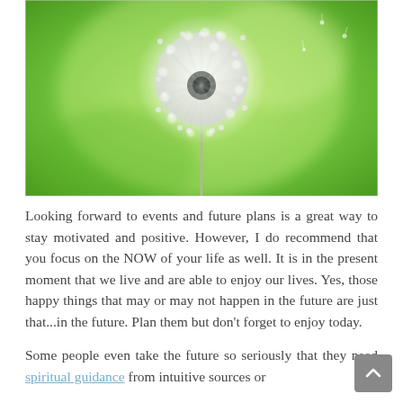[Figure (photo): Close-up photograph of a dandelion seed head (white fluffy ball) against a bright green blurred background]
Looking forward to events and future plans is a great way to stay motivated and positive. However, I do recommend that you focus on the NOW of your life as well. It is in the present moment that we live and are able to enjoy our lives. Yes, those happy things that may or may not happen in the future are just that...in the future. Plan them but don't forget to enjoy today.
Some people even take the future so seriously that they need spiritual guidance from intuitive sources or